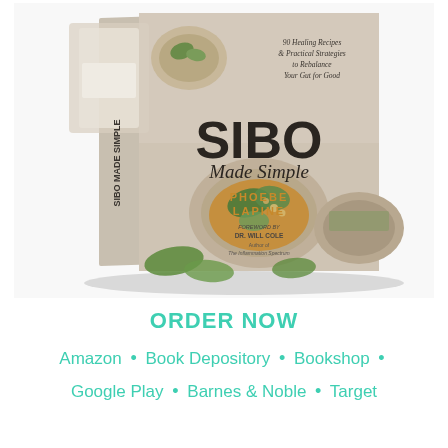[Figure (photo): Book cover of 'SIBO Made Simple' by Phoebe Lapine. The cover shows food dishes including bowls of Asian-style meals with greens, nuts, and sauces. Text on the cover reads: '90 Healing Recipes & Practical Strategies to Rebalance Your Gut for Good', 'SIBO Made Simple', 'PHOEBE LAPINE', 'FOREWORD BY DR. WILL COLE, Author of The Inflammation Spectrum'. The book is shown at a slight angle as a 3D book mockup.]
ORDER NOW
Amazon • Book Depository • Bookshop • Google Play • Barnes & Noble • Target